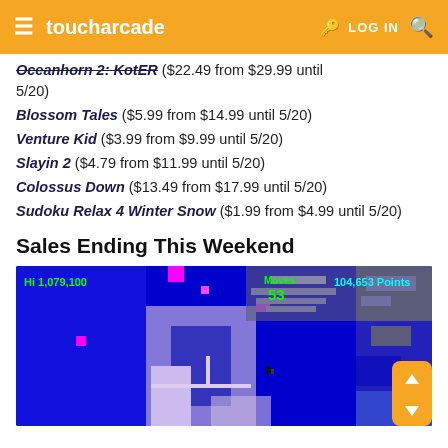toucharcade  LOG IN
Oceanhorn 2: KotER ($22.49 from $29.99 until 5/20)
Blossom Tales ($5.99 from $14.99 until 5/20)
Venture Kid ($3.99 from $9.99 until 5/20)
Slayin 2 ($4.79 from $11.99 until 5/20)
Colossus Down ($13.49 from $17.99 until 5/20)
Sudoku Relax 4 Winter Snow ($1.99 from $4.99 until 5/20)
Sales Ending This Weekend
[Figure (screenshot): Game screenshot showing a puzzle or arcade game. Top-left shows 'Hi 1,079,100', center shows 'Moves 53', top-right shows '104,653 Points'. Blue and purple game board with maze-like layout and colorful blocks. Orange navigation buttons on the right side.]